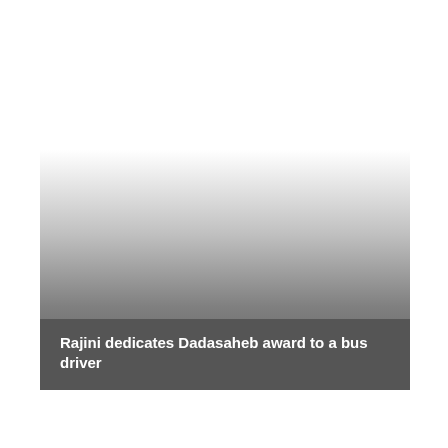[Figure (photo): A thumbnail image with a gradient from white at the top to dark gray at the bottom, with a caption overlay at the bottom reading 'Rajini dedicates Dadasaheb award to a bus driver']
Rajini dedicates Dadasaheb award to a bus driver